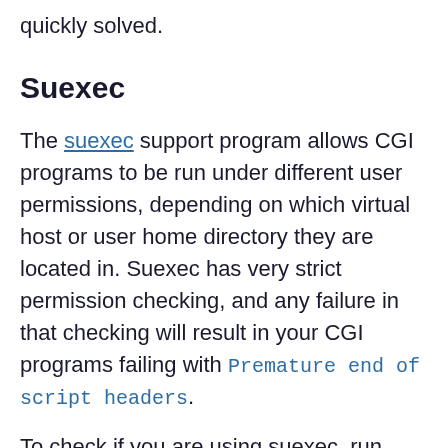quickly solved.
Suexec
The suexec support program allows CGI programs to be run under different user permissions, depending on which virtual host or user home directory they are located in. Suexec has very strict permission checking, and any failure in that checking will result in your CGI programs failing with Premature end of script headers.
To check if you are using suexec, run apachectl -V and check for the location of SUEXEC_BIN. If Apache finds an